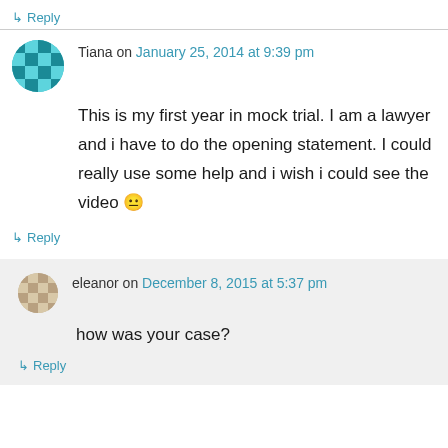↳ Reply
Tiana on January 25, 2014 at 9:39 pm
This is my first year in mock trial. I am a lawyer and i have to do the opening statement. I could really use some help and i wish i could see the video 😐
↳ Reply
eleanor on December 8, 2015 at 5:37 pm
how was your case?
↳ Reply